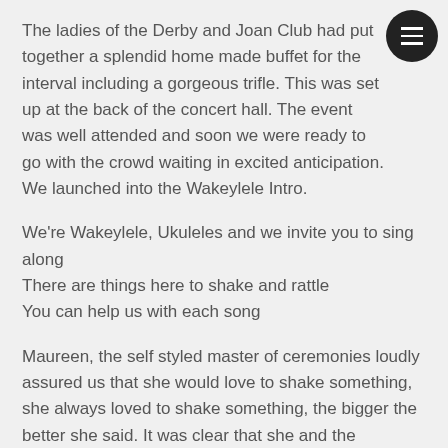The ladies of the Derby and Joan Club had put together a splendid home made buffet for the interval including a gorgeous trifle. This was set up at the back of the concert hall. The event was well attended and soon we were ready to go with the crowd waiting in excited anticipation. We launched into the Wakeylele Intro.
We're Wakeylele, Ukuleles and we invite you to sing along
There are things here to shake and rattle
You can help us with each song
Maureen, the self styled master of ceremonies loudly assured us that she would love to shake something, she always loved to shake something, the bigger the better she said. It was clear that she and the audience were